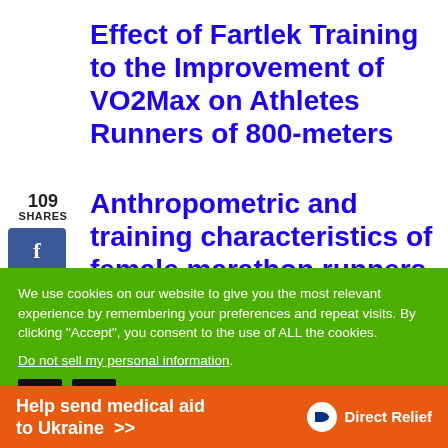Effect of Fartlek Training to the Improvement of VO2Max on Athletes Runners of 800-meters
109
SHARES
Anthropometric and training characteristics of female marathon runners as determinants of
We use cookies on our website to give you the most relevant experience by remembering your preferences and repeat visits. By clicking “Accept”, you consent to the use of ALL the cookies.
Do not sell my personal information.
[Figure (infographic): Orange advertisement bar: Help send medical aid to Ukraine >> with Direct Relief logo]
Help send medical aid to Ukraine >>